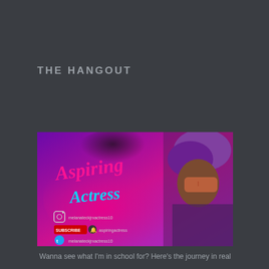THE HANGOUT
[Figure (photo): YouTube channel banner for 'Aspiring Actress' showing a woman with sunglasses and a purple head wrap on a pink/purple gradient background, with Instagram, YouTube subscribe button, and Twitter social media handles]
Wanna see what I'm in school for? Here's the journey in real